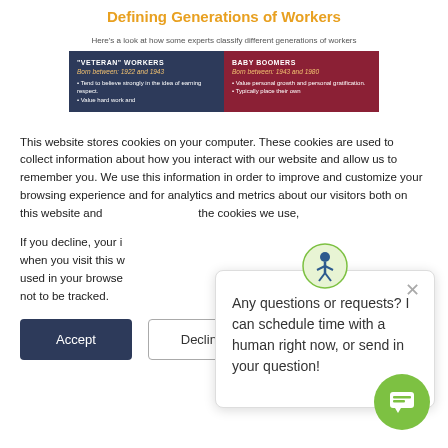Defining Generations of Workers
Here's a look at how some experts classify different generations of workers
[Figure (infographic): Two colored boxes showing generational worker categories: 'VETERAN' WORKERS Born between: 1922 and 1943 - Tend to believe strongly in the idea of earning respect. - Value hard work and... | BABY BOOMERS Born between: 1943 and 1980 - Value personal growth and personal gratification. - Typically place their own...]
This website stores cookies on your computer. These cookies are used to collect information about how you interact with our website and allow us to remember you. We use this information in order to improve and customize your browsing experience and for analytics and metrics about our visitors both on this website and the cookies we use,
If you decline, your i when you visit this w used in your browse not to be tracked.
Any questions or requests? I can schedule time with a human right now, or send in your question!